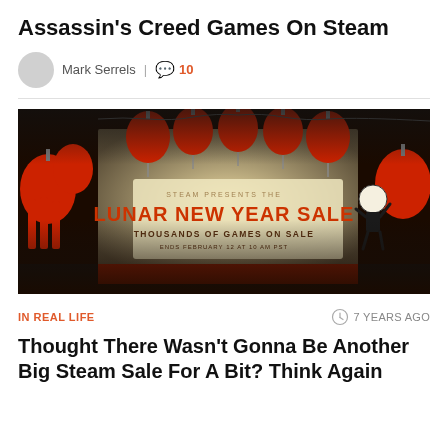Assassin’s Creed Games On Steam
Mark Serrels | 10
[Figure (illustration): Steam Lunar New Year Sale banner with Chinese lanterns, firecrackers, and a cartoon character. Text reads: STEAM PRESENTS THE LUNAR NEW YEAR SALE, THOUSANDS OF GAMES ON SALE, ENDS FEBRUARY 12 AT 10 AM PST]
IN REAL LIFE   7 YEARS AGO
Thought There Wasn’t Gonna Be Another Big Steam Sale For A Bit? Think Again